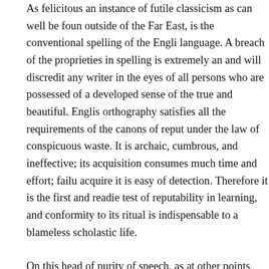As felicitous an instance of futile classicism as can well be found outside of the Far East, is the conventional spelling of the English language. A breach of the proprieties in spelling is extremely annoying and will discredit any writer in the eyes of all persons who are possessed of a developed sense of the true and beautiful. English orthography satisfies all the requirements of the canons of reputability under the law of conspicuous waste. It is archaic, cumbrous, and ineffective; its acquisition consumes much time and effort; failure to acquire it is easy of detection. Therefore it is the first and readiest test of reputability in learning, and conformity to its ritual is indispensable to a blameless scholastic life.
On this head of purity of speech, as at other points where a conventional usage rests on the canons of archaism and waste, the spokesmen for the usage instinctively take an apologetic attitude. It is contended, in substance, that a punctilious use of ancient and accredited locutions will serve to convey thought more adequately and more precisely than would be the straightforward use of the latest form of spoken English; whereas it is notorious that the ideas of today...